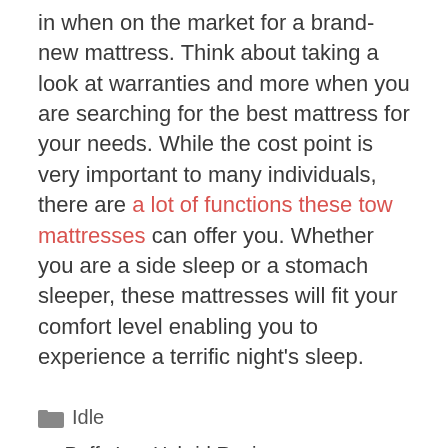in when on the market for a brand-new mattress. Think about taking a look at warranties and more when you are searching for the best mattress for your needs. While the cost point is very important to many individuals, there are a lot of functions these tow mattresses can offer you. Whether you are a side sleep or a stomach sleeper, these mattresses will fit your comfort level enabling you to experience a terrific night's sleep.
Idle
< Puffy Lux Hybrid Review
> Puffy Lux Toronto